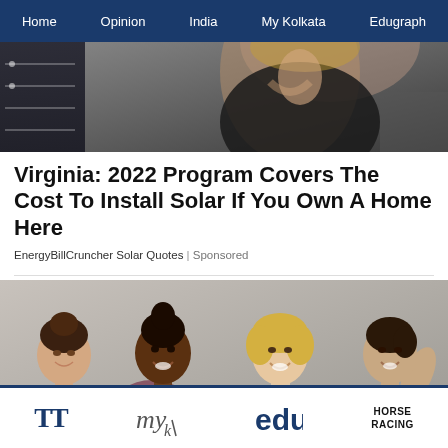Home | Opinion | India | My Kolkata | Edugraph
[Figure (photo): Partial photo of a woman in black top, with a solar panel graphic on the left side]
Virginia: 2022 Program Covers The Cost To Install Solar If You Own A Home Here
EnergyBillCruncher Solar Quotes | Sponsored
[Figure (photo): Four smiling women in athletic wear posing together against a gray wall background]
TT | my Kolkata | edu | HORSE RACING